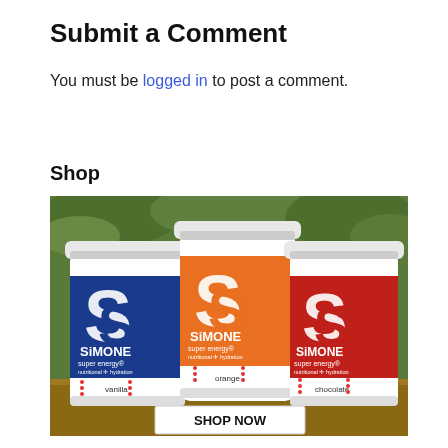Submit a Comment
You must be logged in to post a comment.
Shop
[Figure (photo): Three Simone Super Energy nutritional hydration supplement canisters in vanilla (blue), orange, and chocolate (red) flavors, displayed with a SHOP NOW button overlay at the bottom center.]